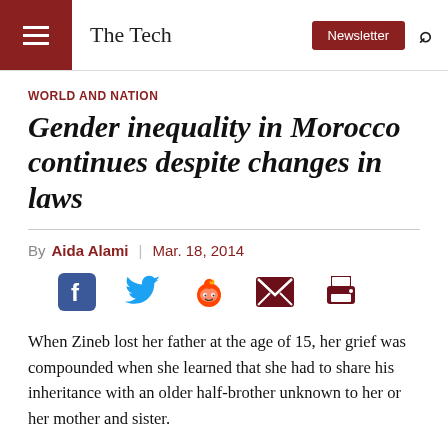The Tech | Newsletter
WORLD AND NATION
Gender inequality in Morocco continues despite changes in laws
By Aida Alami | Mar. 18, 2014
[Figure (infographic): Social sharing icons: Facebook, Twitter, Reddit, Email, Print]
When Zineb lost her father at the age of 15, her grief was compounded when she learned that she had to share his inheritance with an older half-brother unknown to her or her mother and sister.
“It felt unfair to split it with him,” said Zineb, 29